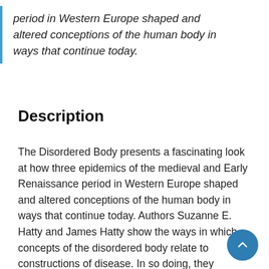period in Western Europe shaped and altered conceptions of the human body in ways that continue today.
Description
The Disordered Body presents a fascinating look at how three epidemics of the medieval and Early Renaissance period in Western Europe shaped and altered conceptions of the human body in ways that continue today. Authors Suzanne E. Hatty and James Hatty show the ways in which concepts of the disordered body relate to constructions of disease. In so doing, they establish a historical link between the discourses of the disordered